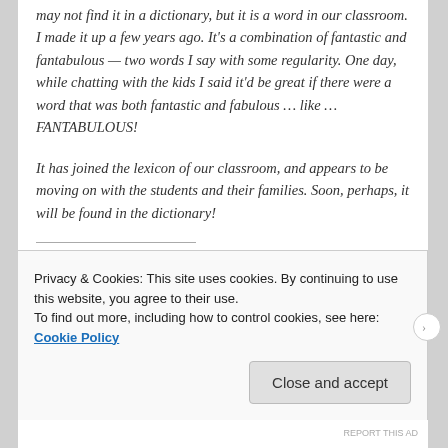may not find it in a dictionary, but it is a word in our classroom. I made it up a few years ago. It's a combination of fantastic and fantabulous — two words I say with some regularity. One day, while chatting with the kids I said it'd be great if there were a word that was both fantastic and fabulous … like … FANTABULOUS!
It has joined the lexicon of our classroom, and appears to be moving on with the students and their families. Soon, perhaps, it will be found in the dictionary!
SHARE THIS:
[Figure (infographic): Social share buttons: Tweet (Twitter, blue), Save (Pinterest, red), Share (LinkedIn, blue), Email (grey outline)]
Privacy & Cookies: This site uses cookies. By continuing to use this website, you agree to their use. To find out more, including how to control cookies, see here: Cookie Policy